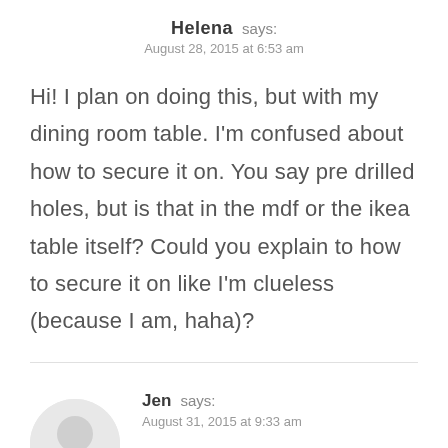Helena says:
August 28, 2015 at 6:53 am
Hi! I plan on doing this, but with my dining room table. I'm confused about how to secure it on. You say pre drilled holes, but is that in the mdf or the ikea table itself? Could you explain to how to secure it on like I'm clueless (because I am, haha)?
Jen says:
August 31, 2015 at 9:33 am